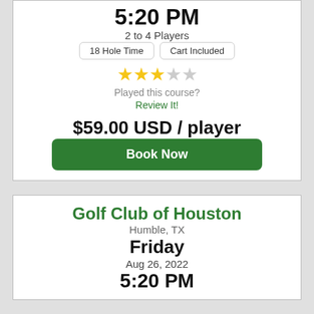5:20 PM
2 to 4 Players
18 Hole Time | Cart Included
[Figure (other): Star rating: 3 out of 5 stars (3 filled, 2 empty)]
Played this course?
Review It!
$59.00 USD / player
Book Now
Golf Club of Houston
Humble, TX
Friday
Aug 26, 2022
5:20 PM